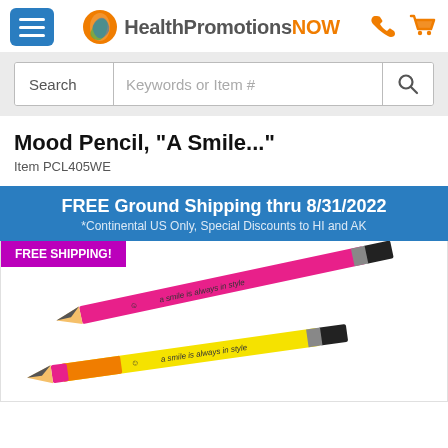HealthPromotionsNOW
Search  Keywords or Item #
Mood Pencil, "A Smile..."
Item PCL405WE
FREE Ground Shipping thru 8/31/2022 *Continental US Only, Special Discounts to HI and AK
[Figure (photo): Two mood pencils shown diagonally: a pink pencil and a yellow/multicolor pencil, both with text 'a smile is always in style'. Pink pencil has black eraser tip. FREE SHIPPING! badge visible.]